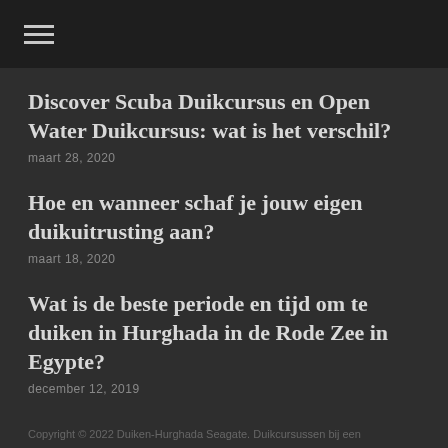☰
Discover Scuba Duikcursus en Open Water Duikcursus: wat is het verschil?
maart 28, 2020
Hoe en wanneer schaf je jouw eigen duikuitrusting aan?
maart 18, 2020
Wat is de beste periode en tijd om te duiken in Hurghada in de Rode Zee in Egypte?
december 12, 2019
Copyright © 2022 Duiken-Hurghada Seagate. Duikcursussen bij een